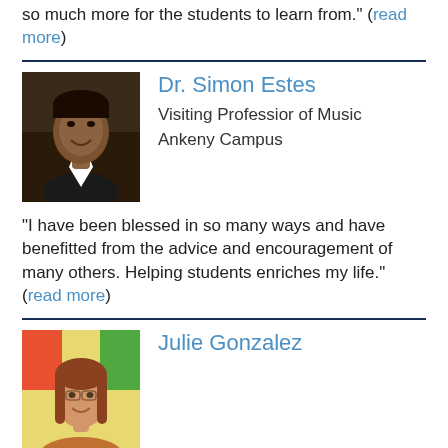so much more for the students to learn from." (read more)
[Figure (photo): Portrait photo of Dr. Simon Estes]
Dr. Simon Estes
Visiting Professior of Music
Ankeny Campus
“I have been blessed in so many ways and have benefitted from the advice and encouragement of many others. Helping students enriches my life.” (read more)
[Figure (photo): Portrait photo of Julie Gonzalez]
Julie Gonzalez